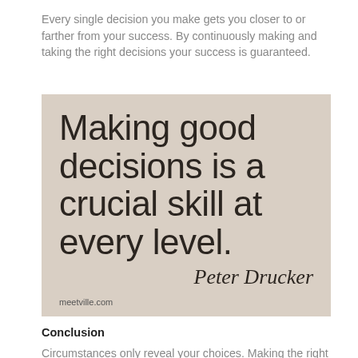Every single decision you make gets you closer to or farther from your success. By continuously making and taking the right decisions your success is guaranteed.
[Figure (illustration): A quote image on a beige/tan textured background. Large light-weight sans-serif text reads: 'Making good decisions is a crucial skill at every level.' followed by italic serif attribution 'Peter Drucker'. Small text 'meetville.com' in bottom-left corner.]
Conclusion
Circumstances only reveal your choices. Making the right